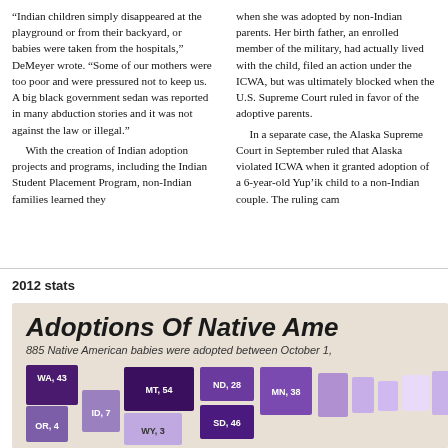“Indian children simply disappeared at the playground or from their backyard, or babies were taken from the hospitals,” DeMeyer wrote. “Some of our mothers were too poor and were pressured not to keep us. A big black government sedan was reported in many abduction stories and it was not against the law or illegal.” With the creation of Indian adoption projects and programs, including the Indian Student Placement Program, non-Indian families learned they
when she was adopted by non-Indian parents. Her birth father, an enrolled member of the military, had actually lived with the child, filed an action under the ICWA, but was ultimately blocked when the U.S. Supreme Court ruled in favor of the adoptive parents. In a separate case, the Alaska Supreme Court in September ruled that Alaska violated ICWA when it granted adoption of a 6-year-old Yup’ik child to a non-Indian couple. The ruling cam
2012 stats
[Figure (map): A map of the United States showing adoptions of Native American babies by state. States shown include WA (43), OR (4), MT (54), ID (7), WY (3), ND (28), SD (46), MN (38). States are shaded in varying shades of purple indicating adoption counts. Background is beige/tan.]